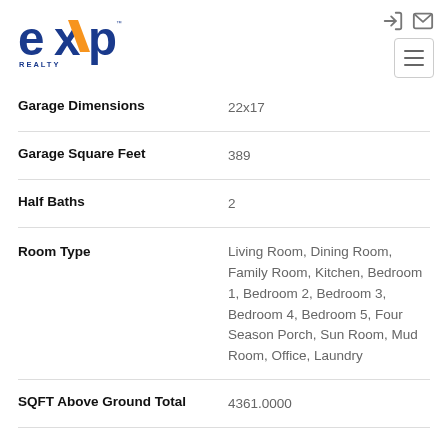[Figure (logo): eXp Realty logo with blue 'exp' text and orange 'X' accent, 'REALTY' in blue below]
| Property Feature | Value |
| --- | --- |
| Garage Dimensions | 22x17 |
| Garage Square Feet | 389 |
| Half Baths | 2 |
| Room Type | Living Room, Dining Room, Family Room, Kitchen, Bedroom 1, Bedroom 2, Bedroom 3, Bedroom 4, Bedroom 5, Four Season Porch, Sun Room, Mud Room, Office, Laundry |
| SQFT Above Ground Total | 4361.0000 |